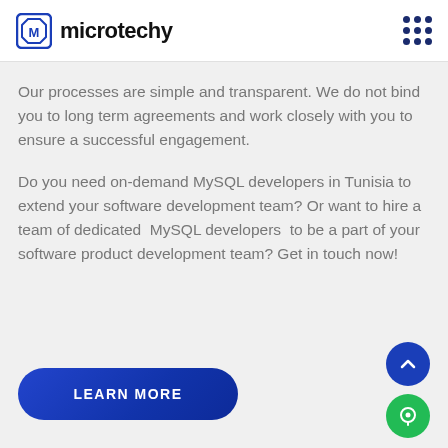microtechy
Our processes are simple and transparent. We do not bind you to long term agreements and work closely with you to ensure a successful engagement.
Do you need on-demand MySQL developers in Tunisia to extend your software development team? Or want to hire a team of dedicated MySQL developers to be a part of your software product development team? Get in touch now!
LEARN MORE